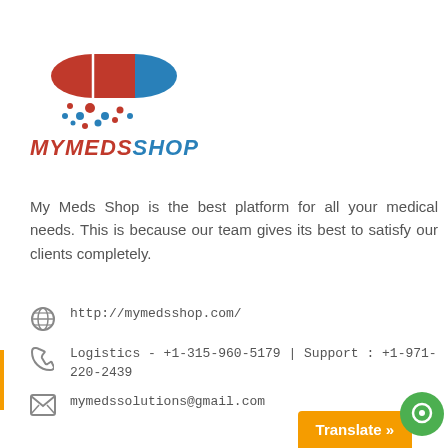[Figure (logo): MyMedsShop logo with red and blue capsule pill graphic above the brand name MYMEDS in red italic and SHOP in blue italic]
My Meds Shop is the best platform for all your medical needs. This is because our team gives its best to satisfy our clients completely.
http://mymedsshop.com/
Logistics - +1-315-960-5179 | Support : +1-971-220-2439
mymedssolutions@gmail.com